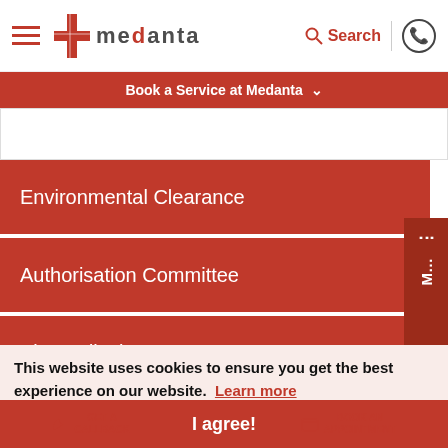[Figure (logo): Medanta hospital logo with red plus cross and text 'medanta']
Book a Service at Medanta
Environmental Clearance
Authorisation Committee
Bio Medical Waste Management
MRP of Orthopaedic Knee Implant Systems
This website uses cookies to ensure you get the best experience on our website. Learn more
I agree!